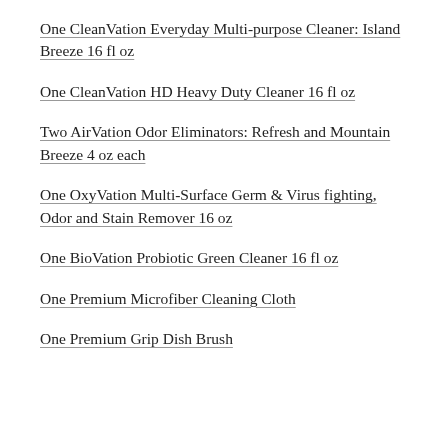One CleanVation Everyday Multi-purpose Cleaner: Island Breeze 16 fl oz
One CleanVation HD Heavy Duty Cleaner 16 fl oz
Two AirVation Odor Eliminators: Refresh and Mountain Breeze 4 oz each
One OxyVation Multi-Surface Germ & Virus fighting, Odor and Stain Remover 16 oz
One BioVation Probiotic Green Cleaner 16 fl oz
One Premium Microfiber Cleaning Cloth
One Premium Grip Dish Brush